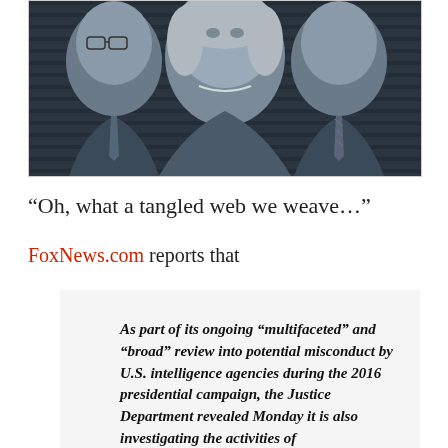[Figure (photo): Black and white photo of three people: an older man with glasses on the left, a woman with blonde/gray hair in the center, and a man in a suit on the right, set against a dark striped background.]
“Oh, what a tangled web we weave…”
FoxNews.com reports that
As part of its ongoing “multifaceted” and “broad” review into potential misconduct by U.S. intelligence agencies during the 2016 presidential campaign, the Justice Department revealed Monday it is also investigating the activities of